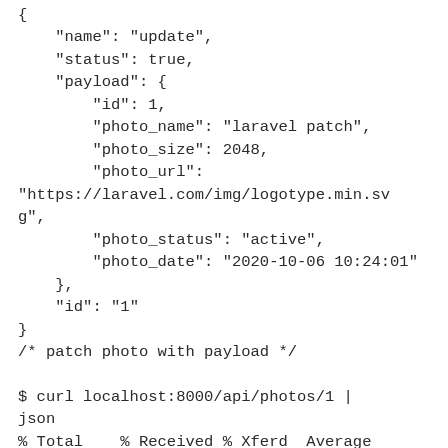{
    "name": "update",
    "status": true,
    "payload": {
        "id": 1,
        "photo_name": "laravel patch",
        "photo_size": 2048,
        "photo_url":
"https://laravel.com/img/logotype.min.svg",
        "photo_status": "active",
        "photo_date": "2020-10-06 10:24:01"
    },
    "id": "1"
}
/* patch photo with payload */

$ curl localhost:8000/api/photos/1 | json
% Total    % Received % Xferd  Average Speed   Time    Time     Time  Current
                               Dload
Upload   Total   Spent    Left  Speed